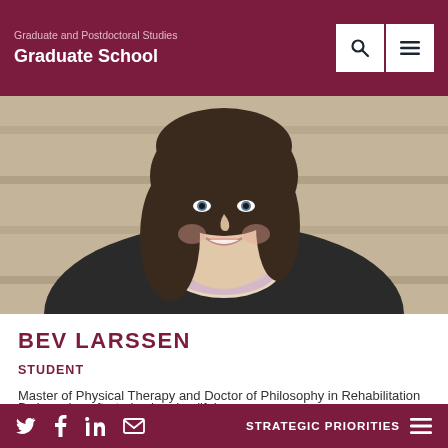Graduate and Postdoctoral Studies Graduate School
[Figure (photo): Portrait photo of Bev Larssen, a young woman with dark hair, smiling, wearing a black coat and a floral scarf, sitting on stone steps.]
BEV LARSSEN
STUDENT
Master of Physical Therapy and Doctor of Philosophy in Rehabilitation Sciences (MPTPHD)
Twitter Facebook LinkedIn Email | STRATEGIC PRIORITIES